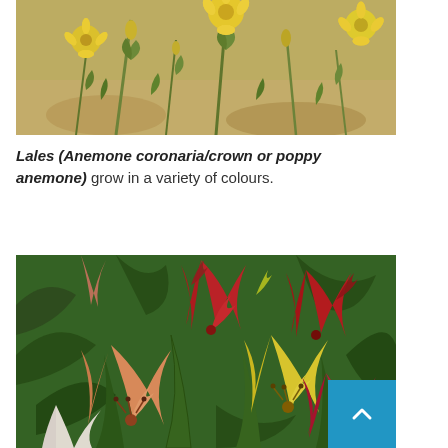[Figure (photo): Yellow daisy-like flowers (Anemone coronaria) with green feathery foliage growing in a garden setting]
Lales (Anemone coronaria/crown or poppy anemone) grow in a variety of colours.
[Figure (photo): Mixed colorful lilies in red, yellow, orange, and pink blooming together with green foliage]